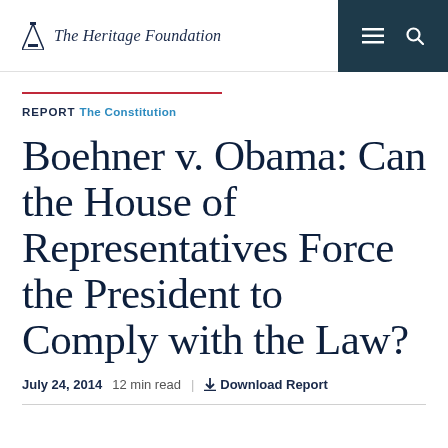The Heritage Foundation
REPORT The Constitution
Boehner v. Obama: Can the House of Representatives Force the President to Comply with the Law?
July 24, 2014  12 min read  ↓ Download Report